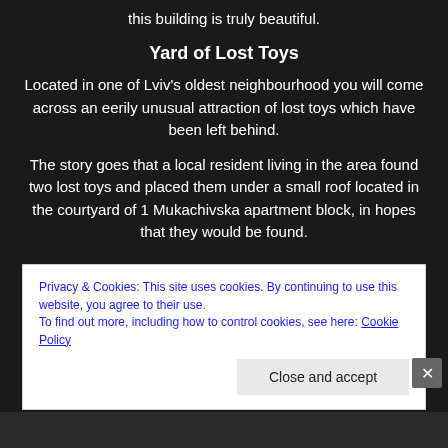this building is truly beautiful.
Yard of Lost Toys
Located in one of Lviv's oldest neighbourhood you will come across an eerily unusual attraction of lost toys which have been left behind.
The story goes that a local resident living in the area found two lost toys and placed them under a small roof located in the courtyard of 1 Mukachivska apartment block, in hopes that they would be found.
Privacy & Cookies: This site uses cookies. By continuing to use this website, you agree to their use.
To find out more, including how to control cookies, see here: Cookie Policy
Close and accept